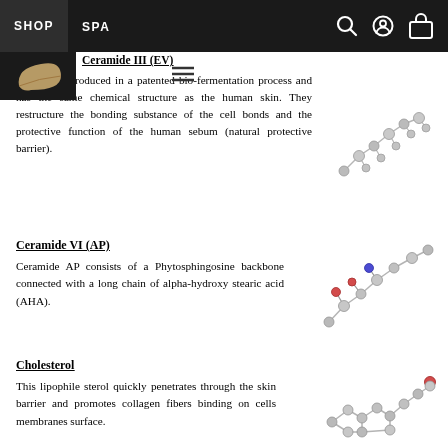SHOP  SPA
Ceramide III is produced in a patented bio-fermentation process and has the same chemical structure as the human skin. They restructure the bonding substance of the cell bonds and the protective function of the human sebum (natural protective barrier).
[Figure (illustration): 3D molecular structure of Ceramide III, grey ball-and-stick model on white background]
Ceramide VI (AP)
Ceramide AP consists of a Phytosphingosine backbone connected with a long chain of alpha-hydroxy stearic acid (AHA).
[Figure (illustration): 3D molecular structure of Ceramide VI AP, grey, red and blue ball-and-stick model on white background]
Cholesterol
This lipophile sterol quickly penetrates through the skin barrier and promotes collagen fibers binding on cells membranes surface.
[Figure (illustration): 3D molecular structure of Cholesterol, grey and red ball-and-stick model on white background]